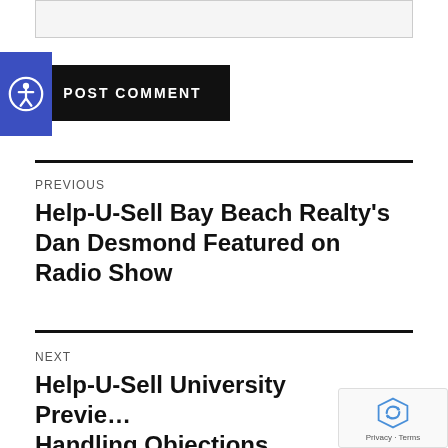[Figure (screenshot): Text input/textarea box (comment field)]
[Figure (other): Accessibility icon (person in circle) in blue square, overlapping POST COMMENT button]
POST COMMENT
PREVIOUS
Help-U-Sell Bay Beach Realty's Dan Desmond Featured on Radio Show
NEXT
Help-U-Sell University Previews Handling Objections